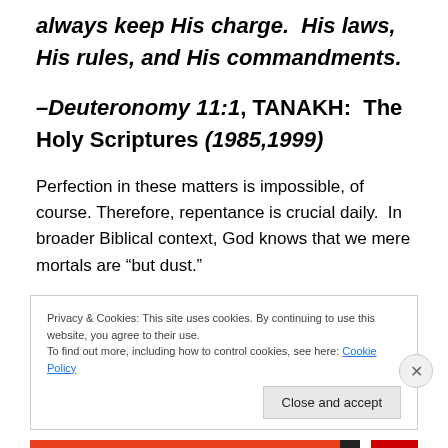always keep His charge.  His laws, His rules, and His commandments.
–Deuteronomy 11:1, TANAKH:  The Holy Scriptures (1985,1999)
Perfection in these matters is impossible, of course. Therefore, repentance is crucial daily.  In broader Biblical context, God knows that we mere mortals are “but dust.”
Privacy & Cookies: This site uses cookies. By continuing to use this website, you agree to their use.
To find out more, including how to control cookies, see here: Cookie Policy
Close and accept